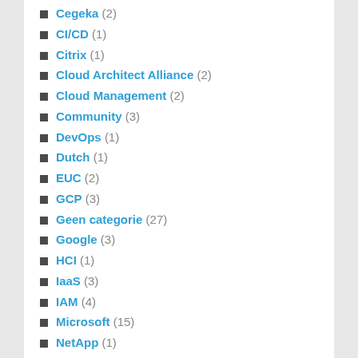Cegeka (2)
CI/CD (1)
Citrix (1)
Cloud Architect Alliance (2)
Cloud Management (2)
Community (3)
DevOps (1)
Dutch (1)
EUC (2)
GCP (3)
Geen categorie (27)
Google (3)
HCI (1)
IaaS (3)
IAM (4)
Microsoft (15)
NetApp (1)
Nutanix (2)
O365 (2)
Oracle (2)
PaaS (2)
Ravello (2)